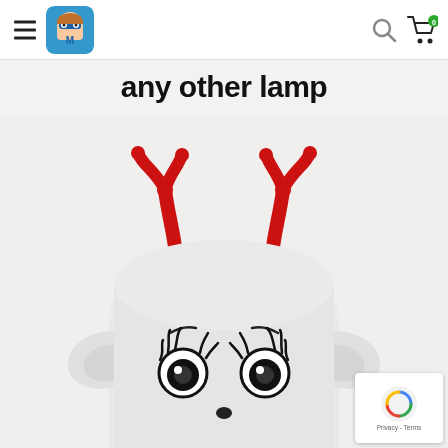Navigation header with hamburger menu, logo, search icon, and cart icon with badge 0
any other lamp
[Figure (photo): White animal-shaped lamp (resembling a dog or bear) with red antlers on top, cartoonish eyes with eyelashes, and a small nose, photographed from above on a light background]
[Figure (other): reCAPTCHA badge showing Privacy - Terms]